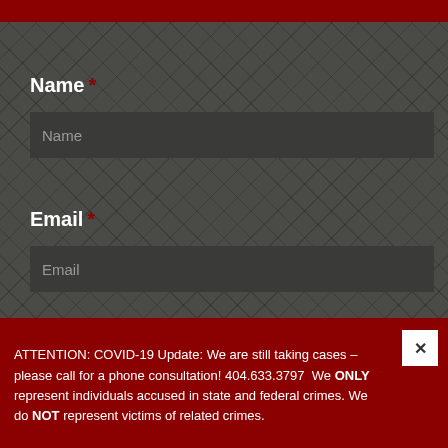Name *
Name
Email *
Email
Phone
Phone
ATTENTION: COVID-19 Update: We are still taking cases – please call for a phone consultation! 404.633.3797  We ONLY represent individuals accused in state and federal crimes. We do NOT represent victims of related crimes.